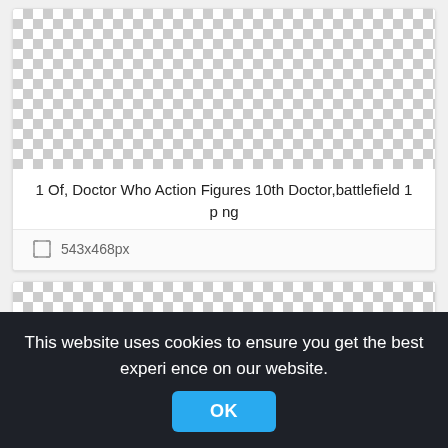[Figure (screenshot): Checkered transparency background for first image card]
1 Of, Doctor Who Action Figures 10th Doctor,battlefield 1 p ng
543x468px
[Figure (screenshot): Checkered transparency background for second image card]
This website uses cookies to ensure you get the best experience on our website.